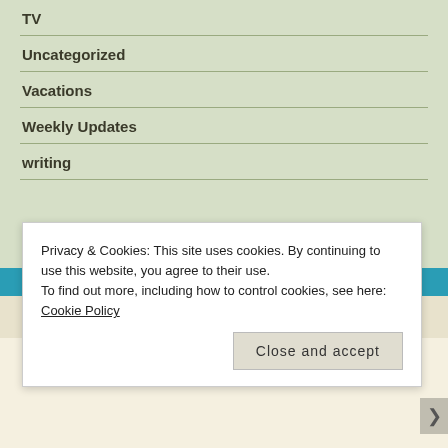TV
Uncategorized
Vacations
Weekly Updates
writing
Privacy & Cookies: This site uses cookies. By continuing to use this website, you agree to their use.
To find out more, including how to control cookies, see here: Cookie Policy
Close and accept